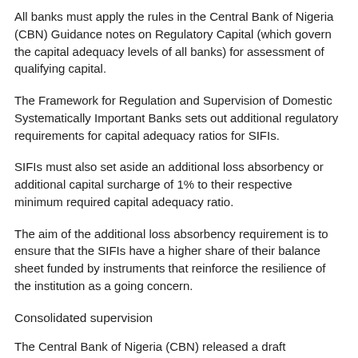All banks must apply the rules in the Central Bank of Nigeria (CBN) Guidance notes on Regulatory Capital (which govern the capital adequacy levels of all banks) for assessment of qualifying capital.
The Framework for Regulation and Supervision of Domestic Systematically Important Banks sets out additional regulatory requirements for capital adequacy ratios for SIFIs.
SIFIs must also set aside an additional loss absorbency or additional capital surcharge of 1% to their respective minimum required capital adequacy ratio.
The aim of the additional loss absorbency requirement is to ensure that the SIFIs have a higher share of their balance sheet funded by instruments that reinforce the resilience of the institution as a going concern.
Consolidated supervision
The Central Bank of Nigeria (CBN) released a draft